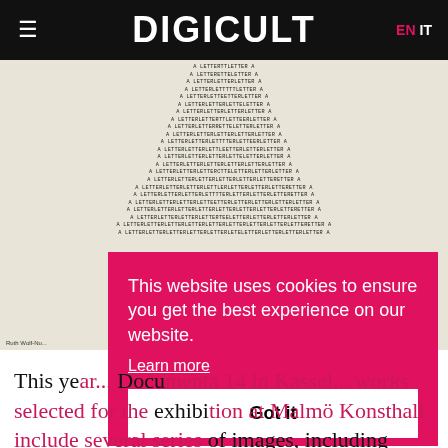DIGICULT  EN  IT
[Figure (photo): Artwork showing a typographic pyramid made of the word LETTER repeated in increasing widths, forming a triangle shape. Artist credit: Ruth Wolf-Nu... visible at bottom left.]
This website uses cookies to ensure you get the best experience on our website. Learn more
Got it
This year... Documenta 14 in Kassel... works selected for the exhibition at Malmö Konsthall include several series of images, including collages and various editions